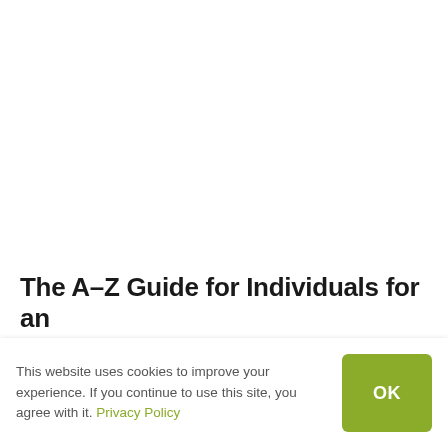The A-Z Guide for Individuals for an
This website uses cookies to improve your experience. If you continue to use this site, you agree with it. Privacy Policy